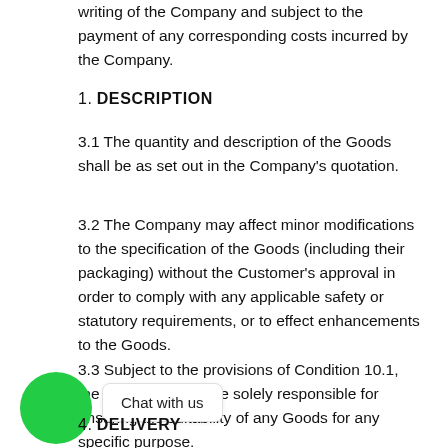writing of the Company and subject to the payment of any corresponding costs incurred by the Company.
1. DESCRIPTION
3.1 The quantity and description of the Goods shall be as set out in the Company's quotation.
3.2 The Company may affect minor modifications to the specification of the Goods (including their packaging) without the Customer's approval in order to comply with any applicable safety or statutory requirements, or to effect enhancements to the Goods.
3.3 Subject to the provisions of Condition 10.1, the Customer shall be solely responsible for ensuring the suitability of any Goods for any specific purpose.
4. DELIVERY